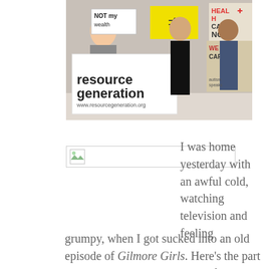[Figure (photo): Protest photo showing people holding signs including 'resource generation' (www.resourcegeneration.org), 'NOT my wealth', a yellow sign with inequality symbol, and 'HEALTH CARE NOT WEALTH CARE' signs.]
[Figure (photo): Broken image placeholder — a wide rectangular box with a small broken image icon at the left.]
I was home yesterday with an awful cold, watching television and feeling grumpy, when I got sucked into an old episode of Gilmore Girls. Here's the part where I admit my pet project of analyzing pop